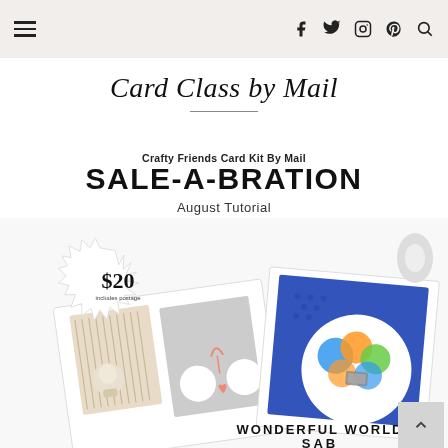Card Class by Mail — navigation bar with hamburger menu and social icons (f, twitter, instagram, pinterest, search)
Card Class by Mail
Crafty Friends Card Kit By Mail
SALE-A-BRATION
August Tutorial
[Figure (photo): Card kit promotional image showing handmade greeting cards with animal characters, blue textured cards with colorful balloons, a price badge showing $20 includes postage, and text 'WONDERFUL WORLD SAB' at the bottom.]